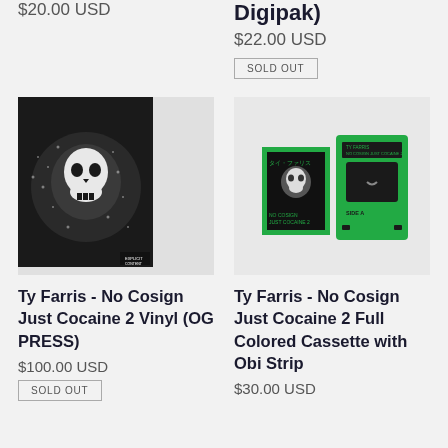$20.00 USD
Digipak)
$22.00 USD
SOLD OUT
[Figure (photo): Vinyl record album with black sleeve showing a skull design and a white vinyl record, Ty Farris No Cosign Just Cocaine 2]
[Figure (photo): Two green cassette tapes with Japanese obi strip, Ty Farris No Cosign Just Cocaine 2]
Ty Farris - No Cosign Just Cocaine 2 Vinyl (OG PRESS)
$100.00 USD
SOLD OUT
Ty Farris - No Cosign Just Cocaine 2 Full Colored Cassette with Obi Strip
$30.00 USD